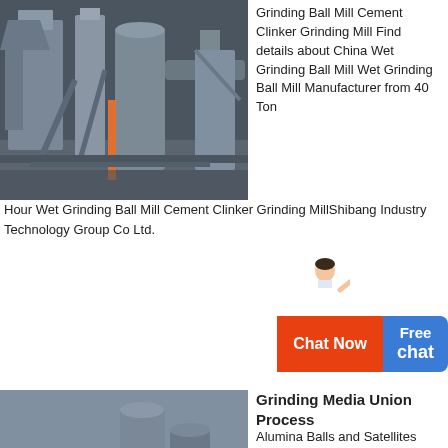[Figure (photo): Industrial ball mill / cement clinker grinding mill facility — large machinery, silos, and industrial equipment inside a factory]
Grinding Ball Mill Cement Clinker Grinding Mill Find details about China Wet Grinding Ball Mill Wet Grinding Ball Mill Manufacturer from 40 Ton Hour Wet Grinding Ball Mill Cement Clinker Grinding MillShibang Industry Technology Group Co Ltd.
[Figure (other): Customer service representative icon / chat widget showing 'Free chat' and 'Chat Now' button]
[Figure (photo): Industrial grinding media / ball mill plant exterior — large silos, piping, conveyors in an outdoor/industrial setting]
Grinding Media Union Process
Alumina Balls and Satellites Union Process is the one source for 90 94 99.5 and 99.9 alumina media 90 alumina is available in satellites and rod/cylinders 94 alumina balls have excellent wear resistance with higher impact strength to save running costs with less contamination They